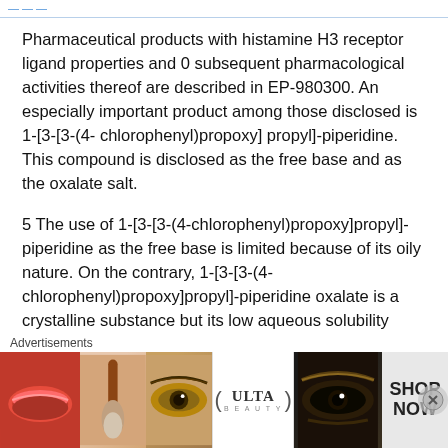Pharmaceutical products with histamine H3 receptor ligand properties and 0 subsequent pharmacological activities thereof are described in EP-980300. An especially important product among those disclosed is 1-[3-[3-(4- chlorophenyl)propoxy] propyl]-piperidine. This compound is disclosed as the free base and as the oxalate salt.
5 The use of 1-[3-[3-(4-chlorophenyl)propoxy]propyl]-piperidine as the free base is limited because of its oily nature. On the contrary, 1-[3-[3-(4-chlorophenyl)propoxy]propyl]-piperidine oxalate is a crystalline substance but its low aqueous solubility (0.025
[Figure (other): Advertisement banner for ULTA beauty products showing cosmetic images including lips, makeup brushes, eyes, ULTA logo, and SHOP NOW call to action]